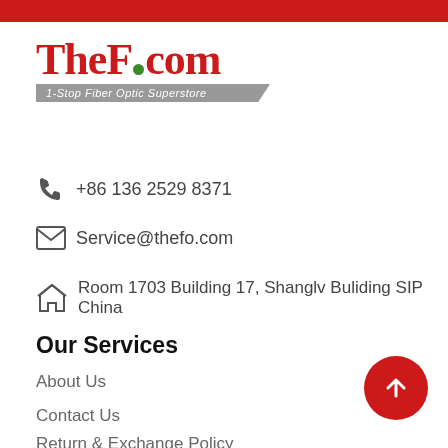Red bar header
[Figure (logo): TheFO.com logo with tagline '1-Stop Fiber Optic Superstore']
+86 136 2529 8371
Service@thefo.com
Room 1703 Building 17, Shanglv Buliding SIP China
Our Services
About Us
Contact Us
Return & Exchange Policy